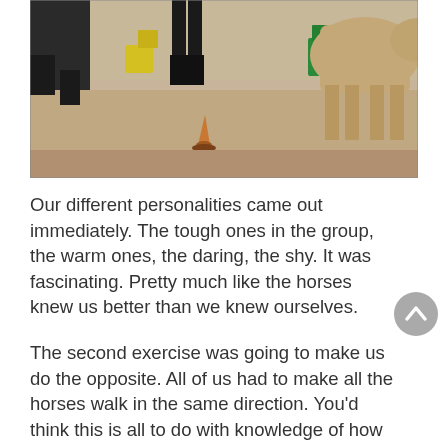[Figure (photo): Outdoor sandy arena with horses and a person visible. Yellow and green containers/buckets on the ground. A small orange cone in the center foreground. A large tan/brown horse on the right side.]
Our different personalities came out immediately. The tough ones in the group, the warm ones, the daring, the shy. It was fascinating. Pretty much like the horses knew us better than we knew ourselves.
The second exercise was going to make us do the opposite. All of us had to make all the horses walk in the same direction. You'd think this is all to do with knowledge of how to train horses than with